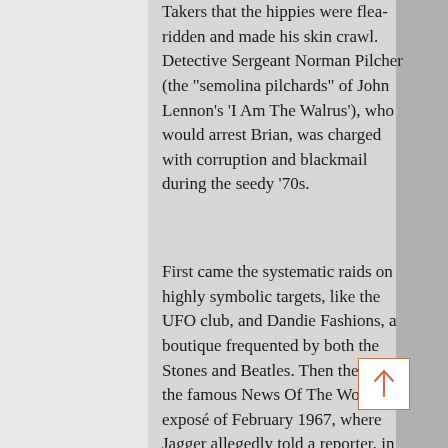Takers that the hippies were flea-ridden and made his skin crawl. Detective Sergeant Norman Pilcher (the "semolina pilchards" of John Lennon's 'I Am The Walrus'), who would arrest Brian, was charged with corruption and blackmail during the seedy '70s.
First came the systematic raids on highly symbolic targets, like the UFO club, and Dandie Fashions, a boutique frequented by both the Stones and Beatles. Then there was the famous News Of The World exposé of February 1967, where Jagger allegedly told a reporter, in suspiciously unhip Fleet Street argot, that he "had sampled LSD" but that
[Figure (other): A scroll-up / back-to-top button with an upward-pointing arrow, outlined in terracotta/orange-red color on a white background]